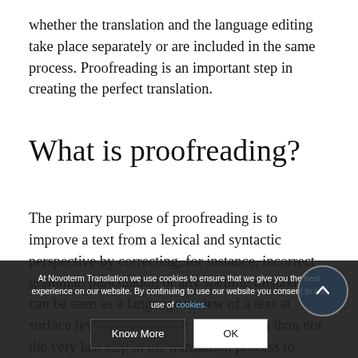whether the translation and the language editing take place separately or are included in the same process. Proofreading is an important step in creating the perfect translation.
What is proofreading?
The primary purpose of proofreading is to improve a text from a lexical and syntactic perspective by correcting, for instance, incorrect grammar, punctuation or any spelling mistakes. It can be seen as a language review of a text at surface level. Proofreading is more often than not the very last step in the translation process to ensure a text is correct as written. For best results...
At Novoterm Translation we use cookies to ensure that we give you the best experience on our website. By continuing to use our website you consent to our use of cookies.